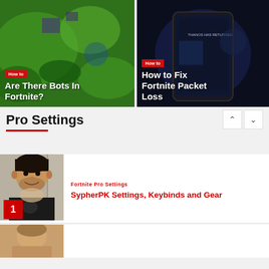[Figure (photo): Gaming screenshot thumbnail for 'Are There Bots In Fortnite?' article with green/colorful Fortnite map background]
How to
Are There Bots In Fortnite?
[Figure (photo): Phone screen showing Fortnite mobile gameplay on dark background for 'How to Fix Fortnite Packet Loss' article]
How to
How to Fix Fortnite Packet Loss
Pro Settings
[Figure (photo): Photo of SypherPK (man with dark hair holding a small dog), numbered 1]
Fortnite Pro Settings
SypherPK Settings, Keybinds and Gear
[Figure (photo): Partial photo of another pro player, partially visible at bottom]